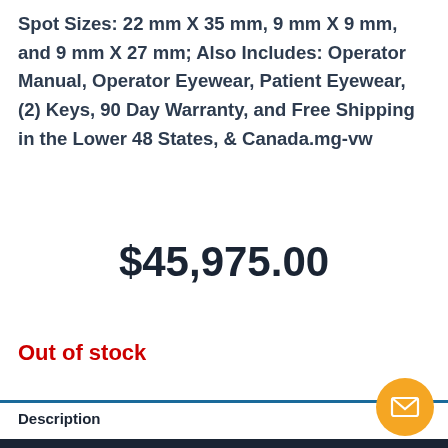Spot Sizes: 22 mm X 35 mm, 9 mm X 9 mm, and 9 mm X 27 mm; Also Includes: Operator Manual, Operator Eyewear, Patient Eyewear, (2) Keys, 90 Day Warranty, and Free Shipping in the Lower 48 States, & Canada.mg-vw
$45,975.00
Out of stock
Description